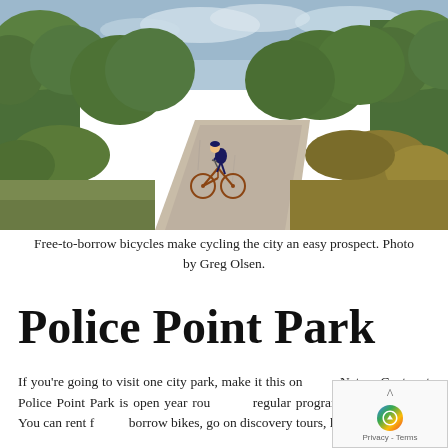[Figure (photo): A person cycling on a paved path through green shrubs and trees under a partly cloudy sky.]
Free-to-borrow bicycles make cycling the city an easy prospect. Photo by Greg Olsen.
Police Point Park
If you're going to visit one city park, make it this one. The Nature Centre at Police Point Park is open year round and regular programming is offered. You can rent f... borrow bikes, go on discovery tours, learn about the...